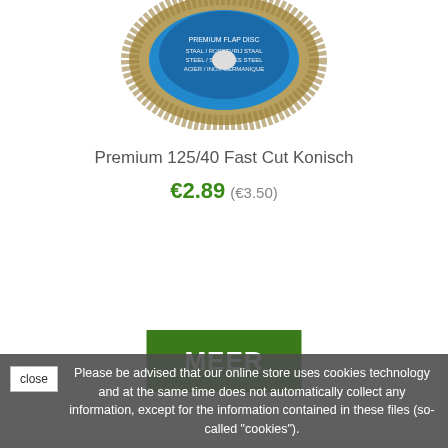[Figure (photo): Product photo of a grinding disc (flap disc) with a blue label, partially visible at the top of the page]
Premium 125/40 Fast Cut Konisch
€2.89 (€3.50)
[Figure (other): Green button with white bold text 'MEER']
Please be advised that our online store uses cookies technology and at the same time does not automatically collect any information, except for the information contained in these files (so-called "cookies").